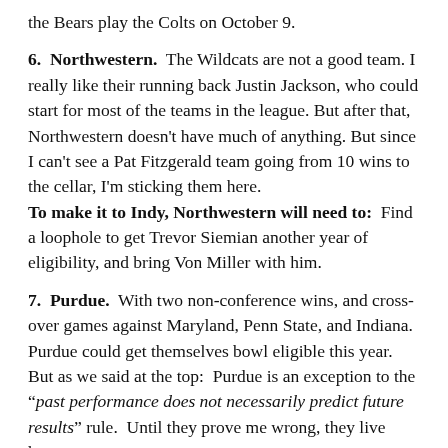the Bears play the Colts on October 9.
6. Northwestern. The Wildcats are not a good team. I really like their running back Justin Jackson, who could start for most of the teams in the league. But after that, Northwestern doesn't have much of anything. But since I can't see a Pat Fitzgerald team going from 10 wins to the cellar, I'm sticking them here.
To make it to Indy, Northwestern will need to: Find a loophole to get Trevor Siemian another year of eligibility, and bring Von Miller with him.
7. Purdue. With two non-conference wins, and crossover games against Maryland, Penn State, and Indiana. Purdue could get themselves bowl eligible this year. But as we said at the top: Purdue is an exception to the "past performance does not necessarily predict future results" rule. Until they prove me wrong, they live here.
To make it to Indy, Purdue will need to: take LSF